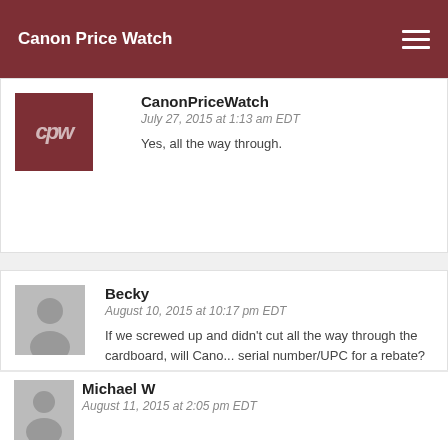Canon Price Watch
CanonPriceWatch
July 27, 2015 at 1:13 am EDT
Yes, all the way through.
Becky
August 10, 2015 at 10:17 pm EDT
If we screwed up and didn't cut all the way through the cardboard, will Cano... serial number/UPC for a rebate?
Michael W
August 11, 2015 at 2:05 pm EDT
My Christmas lane rebate worked that way but I've read of people hav...